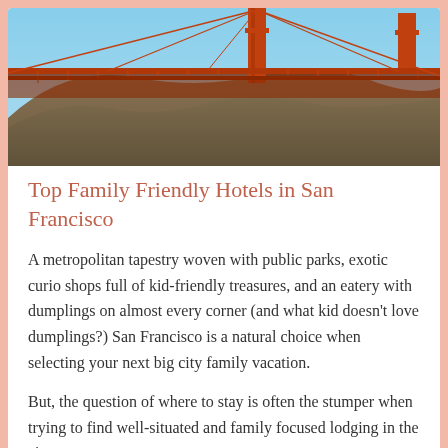[Figure (photo): Photograph of the Golden Gate Bridge in San Francisco, showing the orange bridge towers and cables with hills in the background and blue sky.]
Top Family Friendly Hotels in San Francisco
A metropolitan tapestry woven with public parks, exotic curio shops full of kid-friendly treasures, and an eatery with dumplings on almost every corner (and what kid doesn't love dumplings?) San Francisco is a natural choice when selecting your next big city family vacation.
But, the question of where to stay is often the stumper when trying to find well-situated and family focused lodging in the city.
Using my family as a metaphorical guinea pig, I've